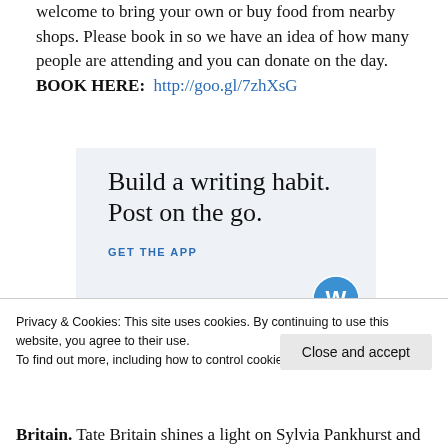welcome to bring your own or buy food from nearby shops. Please book in so we have an idea of how many people are attending and you can donate on the day. BOOK HERE:  http://goo.gl/7zhXsG
[Figure (illustration): WordPress app advertisement with light blue background. Large serif text reads 'Build a writing habit. Post on the go.' with blue uppercase text 'GET THE APP' and WordPress logo (blue circular W icon) in bottom right.]
Privacy & Cookies: This site uses cookies. By continuing to use this website, you agree to their use.
To find out more, including how to control cookies, see here: Cookie Policy
Britain. Tate Britain shines a light on Sylvia Pankhurst and